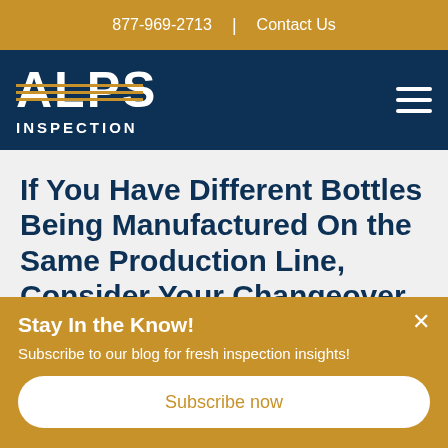877-969-2713  |  Contact Us
[Figure (logo): ALPS INSPECTION logo with golden horizontal stripes through letters on dark blue background, with hamburger menu icon on right]
If You Have Different Bottles Being Manufactured On the Same Production Line, Consider Your Changeover
Stay In the Know!
Subscribe to our blog for fresh inspection insights!
Subscribe now